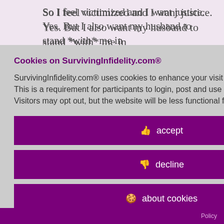So I feel victimized and I want justice. Yes. But I also want my husband to stand *with* me in
ne.
y. Wow....thanks
mentality
cake
nt her dead?
le with the
f it trending
Cookies on SurvivingInfidelity.com®
SurvivingInfidelity.com® uses cookies to enhance your visit to our website. This is a requirement for participants to login, post and use other features. Visitors may opt out, but the website will be less functional for you.
👍 accept
👎 decline
🍪 about cookies
Policy